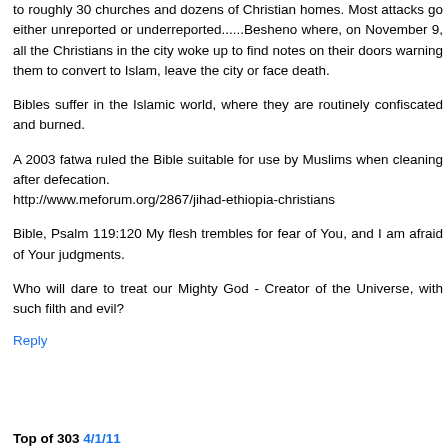to roughly 30 churches and dozens of Christian homes. Most attacks go either unreported or underreported......Besheno where, on November 9, all the Christians in the city woke up to find notes on their doors warning them to convert to Islam, leave the city or face death.
Bibles suffer in the Islamic world, where they are routinely confiscated and burned.
A 2003 fatwa ruled the Bible suitable for use by Muslims when cleaning after defecation. http://www.meforum.org/2867/jihad-ethiopia-christians
Bible, Psalm 119:120 My flesh trembles for fear of You, and I am afraid of Your judgments.
Who will dare to treat our Mighty God - Creator of the Universe, with such filth and evil?
Reply
Top of 303 4/1/11